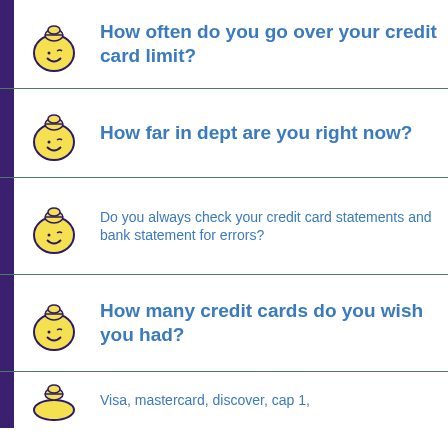How often do you go over your credit card limit?
How far in dept are you right now?
Do you always check your credit card statements and bank statement for errors?
How many credit cards do you wish you had?
Visa, mastercard, discover, cap 1,